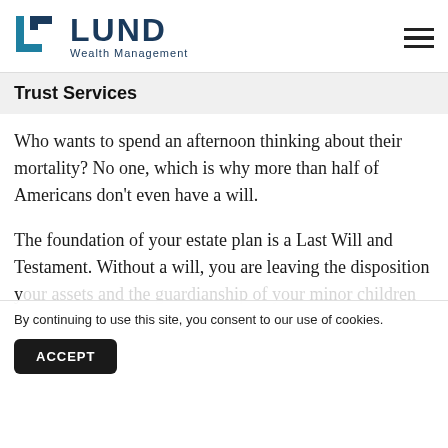LUND Wealth Management
Trust Services
Who wants to spend an afternoon thinking about their mortality? No one, which is why more than half of Americans don't even have a will.
The foundation of your estate plan is a Last Will and Testament. Without a will, you are leaving the disposition your assets and the guardianship of your minor children a narr a e d
By continuing to use this site, you consent to our use of cookies.
ACCEPT